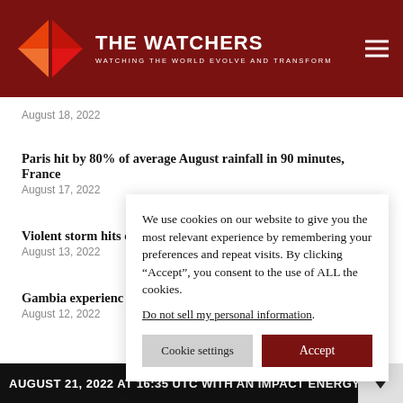THE WATCHERS — WATCHING THE WORLD EVOLVE AND TRANSFORM
August 18, 2022
Paris hit by 80% of average August rainfall in 90 minutes, France
August 17, 2022
Violent storm hits [obscured] of mud
August 13, 2022
Gambia experienc[obscured]
August 12, 2022
We use cookies on our website to give you the most relevant experience by remembering your preferences and repeat visits. By clicking “Accept”, you consent to the use of ALL the cookies.
Do not sell my personal information.
AUGUST 21, 2022 AT 16:35 UTC WITH AN IMPACT ENERGY O[obscured]